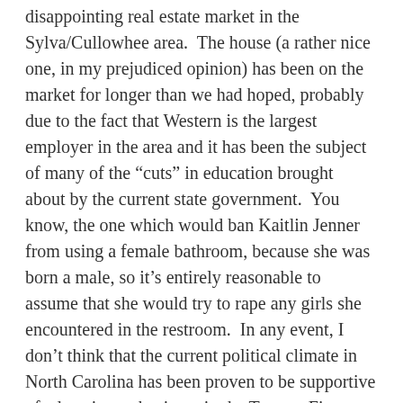disappointing real estate market in the Sylva/Cullowhee area.  The house (a rather nice one, in my prejudiced opinion) has been on the market for longer than we had hoped, probably due to the fact that Western is the largest employer in the area and it has been the subject of many of the “cuts” in education brought about by the current state government.  You know, the one which would ban Kaitlin Jenner from using a female bathroom, because she was born a male, so it’s entirely reasonable to assume that she would try to rape any girls she encountered in the restroom.  In any event, I don’t think that the current political climate in North Carolina has been proven to be supportive of education or business in the Twenty-First Century.  It has led to the state acquiring a bit of a reputation as a joke in much of the country and has caused a number of consequences from parts of the business community.  That certainly doesn’t contribute to a robust and expanding real estate market, especially in the more rural areas of the state (like Jackson County).  But, enough about that.